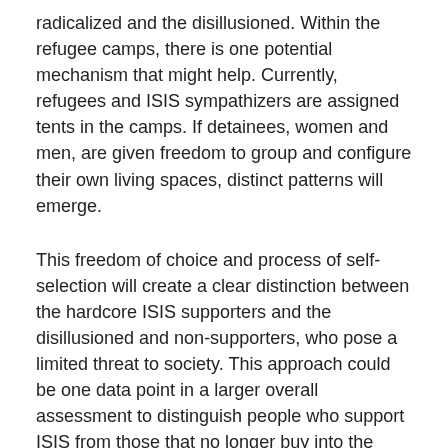radicalized and the disillusioned. Within the refugee camps, there is one potential mechanism that might help. Currently, refugees and ISIS sympathizers are assigned tents in the camps. If detainees, women and men, are given freedom to group and configure their own living spaces, distinct patterns will emerge.
This freedom of choice and process of self-selection will create a clear distinction between the hardcore ISIS supporters and the disillusioned and non-supporters, who pose a limited threat to society. This approach could be one data point in a larger overall assessment to distinguish people who support ISIS from those that no longer buy into the ideology, as part of a vetting process for repatriation. Nevertheless, even those who do not support ISIS will still require monitoring, rehabilitation, and reconciliation if repatriated.